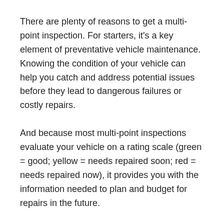There are plenty of reasons to get a multi-point inspection. For starters, it's a key element of preventative vehicle maintenance. Knowing the condition of your vehicle can help you catch and address potential issues before they lead to dangerous failures or costly repairs.
And because most multi-point inspections evaluate your vehicle on a rating scale (green = good; yellow = needs repaired soon; red = needs repaired now), it provides you with the information needed to plan and budget for repairs in the future.
What is checked during